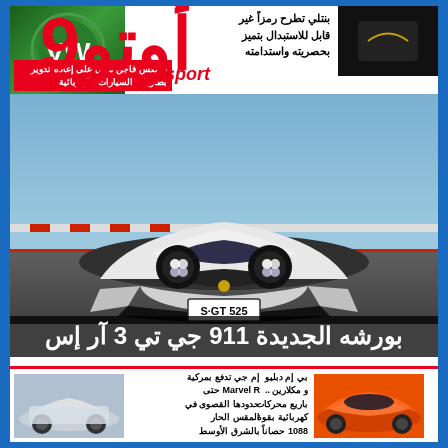أوتو 9 sport
www.autosport-me.com
بنتلي تطرح رمزاً غير قابل للاستبدال بتميز بحصريته واستدامته
فولكس فاجن تعمل على إعادة تدوير بطاريات السيارات الكهربائية
[Figure (photo): VW logo on green background - thumbnail]
[Figure (photo): Dark thumbnail image top right]
[Figure (photo): Porsche 911 GT3 RS white sports car front view on race track, license plate S GT 525]
بورشه الجديدة 911 جي تي 3 آر إس
[Figure (photo): MG Marvel R electric SUV - white car front view thumbnail]
إم جي تدفع بمركية Marvel R حتى حدودها القصوى في المقس الحار بالشرق الأوسط
بي إم دبليو و مكلارين .. باريع محركات كهربائية بقوة 1088 حصاناً
[Figure (photo): McLaren orange sports car thumbnail]